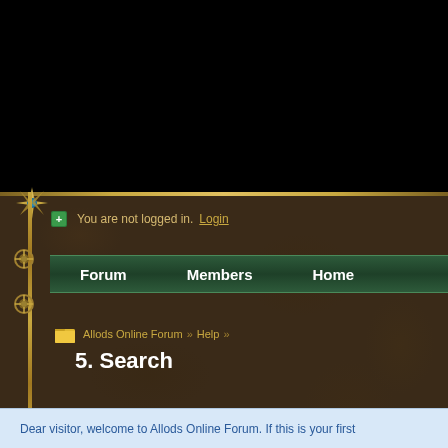[Figure (screenshot): Black area at top representing the upper portion of the Allods Online Forum website page header]
You are not logged in.  Login
Forum   Members   Home
Allods Online Forum » Help »
5. Search
Dear visitor, welcome to Allods Online Forum. If this is your first